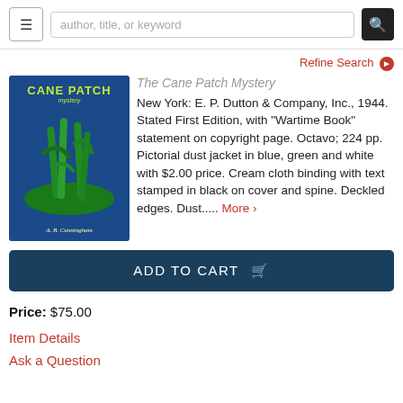author, title, or keyword
Refine Search
The Cane Patch Mystery
New York: E. P. Dutton & Company, Inc., 1944. Stated First Edition, with "Wartime Book" statement on copyright page. Octavo; 224 pp. Pictorial dust jacket in blue, green and white with $2.00 price. Cream cloth binding with text stamped in black on cover and spine. Deckled edges. Dust..... More >
ADD TO CART
Price: $75.00
Item Details
Ask a Question